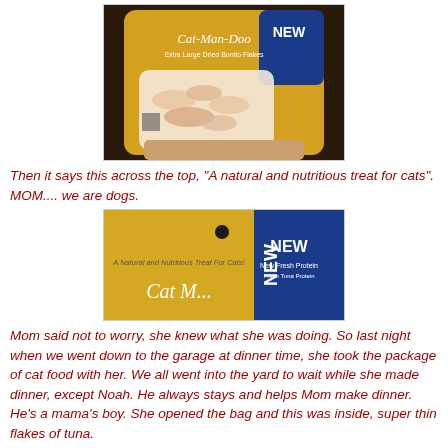[Figure (photo): A hand holding a yellow and blue bag of Cat-Man-Doo Extra Large Dried Bonito Flakes cat treats, with a clear window showing pink/white flakes inside.]
Then it says this across the top, "A natural and nutritious treat for cats".  MOM.... we are dogs.
[Figure (photo): Close-up of the top of the yellow and blue Cat-Man-Doo package showing the text 'A Natural and Nutritious Treat For Cats!' and the 'NEW' banner in blue.]
Mom said not to worry, she knew what she was doing. So last night when we went down to the garage at dinner time, she took the package of cat food with her. We all went into the yard to wait while she made dinner, except Noah. He always stays and helps Mom make dinner. He's a mama's boy. She opened the bag and this was inside, super thin flakes of tuna.